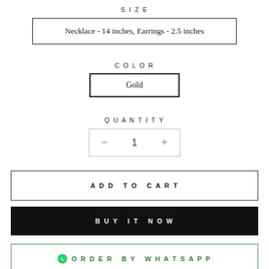SIZE
Necklace - 14 inches, Earrings - 2.5 inches
COLOR
Gold
QUANTITY
− 1 +
ADD TO CART
BUY IT NOW
ORDER BY WHATSAPP